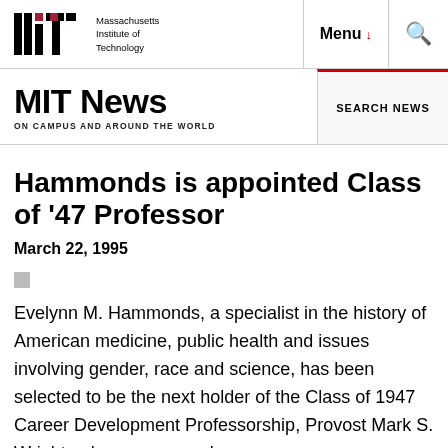Massachusetts Institute of Technology | Menu | Search
MIT News ON CAMPUS AND AROUND THE WORLD | SEARCH NEWS
Hammonds is appointed Class of '47 Professor
March 22, 1995
Evelynn M. Hammonds, a specialist in the history of American medicine, public health and issues involving gender, race and science, has been selected to be the next holder of the Class of 1947 Career Development Professorship, Provost Mark S. Wrighton has announced.